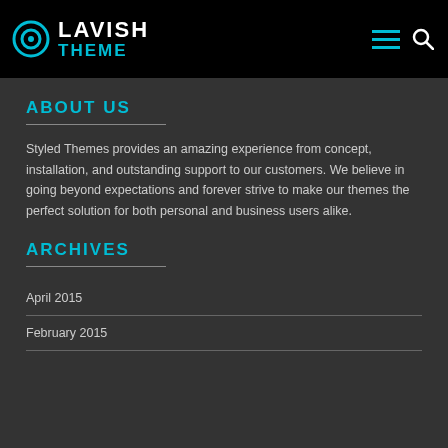LAVISH THEME
ABOUT US
Styled Themes provides an amazing experience from concept, installation, and outstanding support to our customers. We believe in going beyond expectations and forever strive to make our themes the perfect solution for both personal and business users alike.
ARCHIVES
April 2015
February 2015